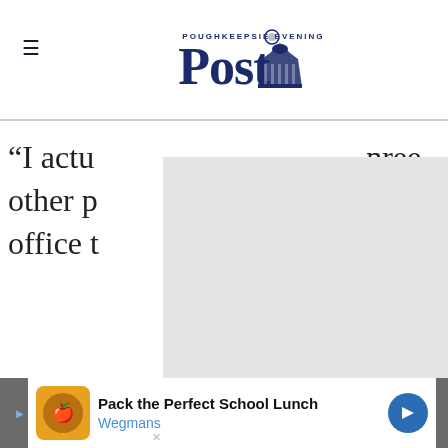[Figure (logo): Poughkeepsie Evening Post newspaper logo with building/capitol icon on right]
“I actu…nree other p…ne office t…
[Figure (other): Grey overlay box covering middle portion of article text]
[Figure (other): Lower light grey content/ad block]
[Figure (other): Advertisement banner: Pack the Perfect School Lunch - Wegmans]